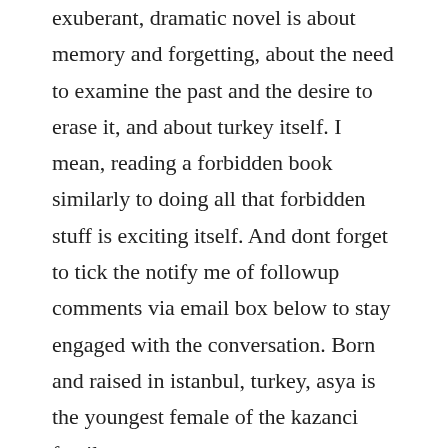exuberant, dramatic novel is about memory and forgetting, about the need to examine the past and the desire to erase it, and about turkey itself. I mean, reading a forbidden book similarly to doing all that forbidden stuff is exciting itself. And dont forget to tick the notify me of followup comments via email box below to stay engaged with the conversation. Born and raised in istanbul, turkey, asya is the youngest female of the kazanci family.
I wasnt a huge fan of the kite runner, oscar